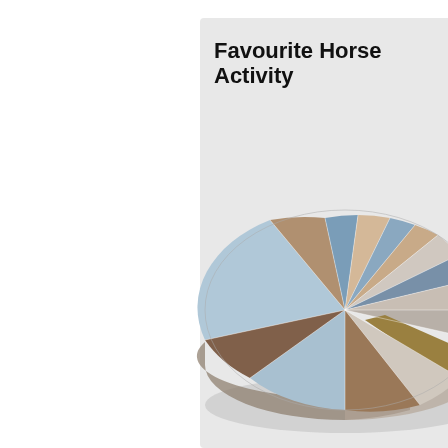Favourite Horse Activity
[Figure (pie-chart): A 3D pie chart showing favourite horse activities broken into many segments of varying sizes, rendered in muted blue, tan, brown, grey, and slate color palette. The chart is cropped on the right side. Individual slice percentages/labels are not visible.]